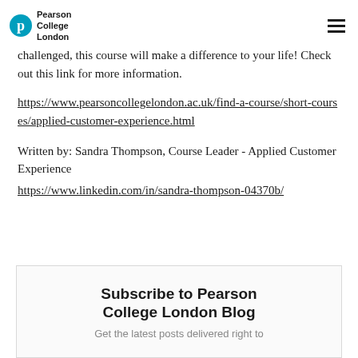Pearson College London
challenged, this course will make a difference to your life! Check out this link for more information.
https://www.pearsoncollegelondon.ac.uk/find-a-course/short-courses/applied-customer-experience.html
Written by: Sandra Thompson, Course Leader - Applied Customer Experience
https://www.linkedin.com/in/sandra-thompson-04370b/
Subscribe to Pearson College London Blog
Get the latest posts delivered right to